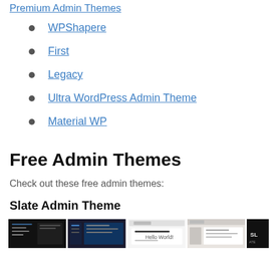Premium Admin Themes
WPShapere
First
Legacy
Ultra WordPress Admin Theme
Material WP
Free Admin Themes
Check out these free admin themes:
Slate Admin Theme
[Figure (screenshot): Row of four admin theme screenshots showing dark and light UI panels]